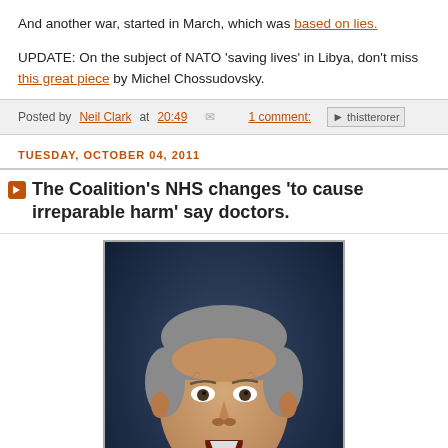And another war, started in March, which was based on lies.
UPDATE: On the subject of NATO 'saving lives' in Libya, don't miss this great piece by Michel Chossudovsky.
Posted by Neil Clark at 20:49   1 comment:
TUESDAY, OCTOBER 04, 2011
The Coalition's NHS changes 'to cause irreparable harm' say doctors.
[Figure (photo): Portrait photo of a middle-aged man with gray hair, open mouth, wearing a dark suit, against a dark blue background]
The BBC reports: